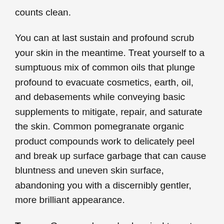counts clean.
You can at last sustain and profound scrub your skin in the meantime. Treat yourself to a sumptuous mix of common oils that plunge profound to evacuate cosmetics, earth, oil, and debasements while conveying basic supplements to mitigate, repair, and saturate the skin. Common pomegranate organic product compounds work to delicately peel and break up surface garbage that can cause bluntness and uneven skin surface, abandoning you with a discernibly gentler, more brilliant appearance.
To use: Generously apply chemical to wet hands, at that point rub over wet face. Flush altogether. For best outcomes, use with Julep's Konjac Sponge.
For an entire twofold wash down, first utilize Julep's